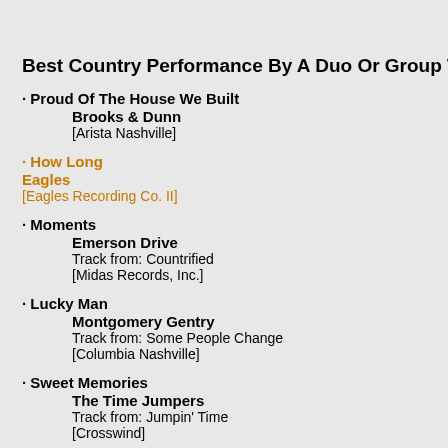Best Country Performance By A Duo Or Group With Vocals - n
· Proud Of The House We Built
Brooks & Dunn
[Arista Nashville]
· How Long
Eagles
[Eagles Recording Co. II]
· Moments
Emerson Drive
Track from: Countrified
[Midas Records, Inc.]
· Lucky Man
Montgomery Gentry
Track from: Some People Change
[Columbia Nashville]
· Sweet Memories
The Time Jumpers
Track from: Jumpin' Time
[Crosswind]